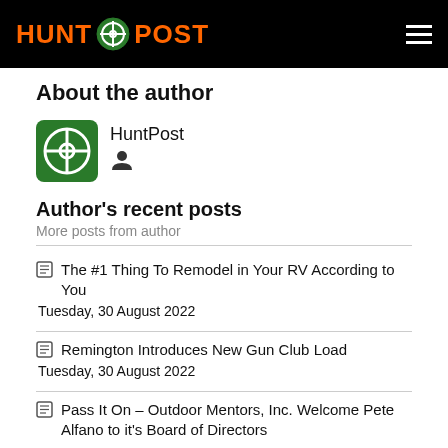HUNT POST
About the author
HuntPost
Author's recent posts
More posts from author
The #1 Thing To Remodel in Your RV According to You
Tuesday, 30 August 2022
Remington Introduces New Gun Club Load
Tuesday, 30 August 2022
Pass It On – Outdoor Mentors, Inc. Welcome Pete Alfano to it's Board of Directors